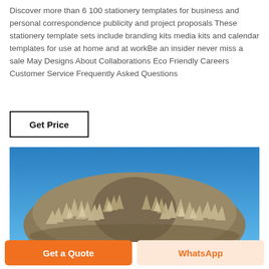Discover more than 6 100 stationery templates for business and personal correspondence publicity and project proposals These stationery template sets include branding kits media kits and calendar templates for use at home and at workBe an insider never miss a sale May Designs About Collaborations Eco Friendly Careers Customer Service Frequently Asked Questions
Get Price
[Figure (photo): A close-up photograph of a rock/mineral specimen covered with small crystalline formations, set against a bright blue sky background.]
Get a Quote
WhatsApp